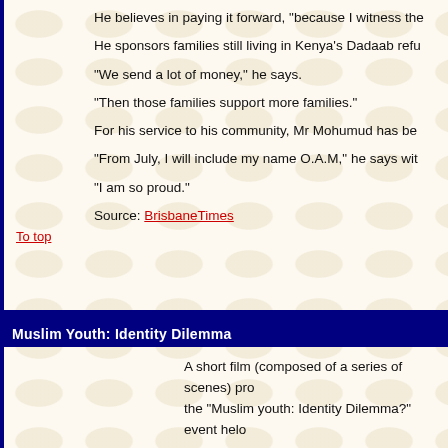He believes in paying it forward, "because I witness the
He sponsors families still living in Kenya's Dadaab refu
"We send a lot of money," he says.
"Then those families support more families."
For his service to his community, Mr Mohumud has be
"From July, I will include my name O.A.M," he says wit
"I am so proud."
Source: BrisbaneTimes
To top
Muslim Youth: Identity Dilemma
A short film (composed of a series of scenes) pro the "Muslim youth: Identity Dilemma?" event helo